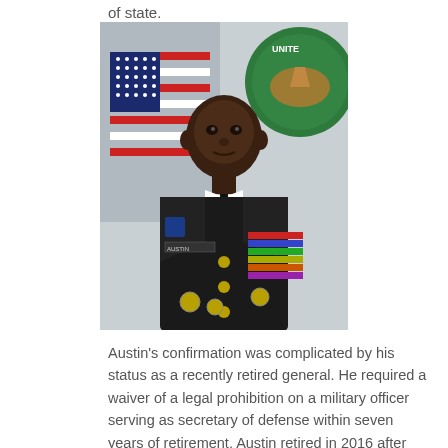of state.
[Figure (photo): Official military portrait of Lloyd Austin in U.S. Army dress uniform with American flag and military insignia in background]
Austin's confirmation was complicated by his status as a recently retired general. He required a waiver of a legal prohibition on a military officer serving as secretary of defense within seven years of retirement. Austin retired in 2016 after serving as the first Black general to head U.S. Central